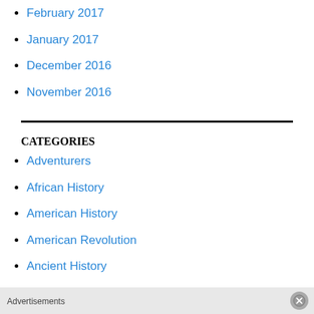February 2017
January 2017
December 2016
November 2016
CATEGORIES
Adventurers
African History
American History
American Revolution
Ancient History
Animal Stories
Architecture
Advertisements